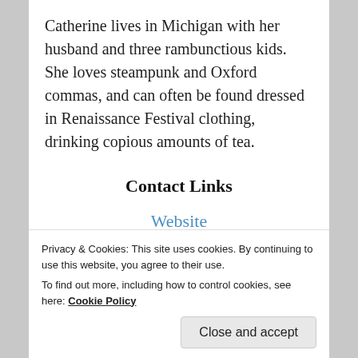Catherine lives in Michigan with her husband and three rambunctious kids. She loves steampunk and Oxford commas, and can often be found dressed in Renaissance Festival clothing, drinking copious amounts of tea.
Contact Links
Website
Twitter
Facebook
Privacy & Cookies: This site uses cookies. By continuing to use this website, you agree to their use.
To find out more, including how to control cookies, see here: Cookie Policy